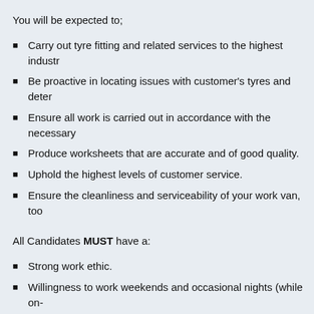You will be expected to;
Carry out tyre fitting and related services to the highest industr…
Be proactive in locating issues with customer's tyres and deter…
Ensure all work is carried out in accordance with the necessary…
Produce worksheets that are accurate and of good quality.
Uphold the highest levels of customer service.
Ensure the cleanliness and serviceability of your work van, too…
All Candidates MUST have a:
Strong work ethic.
Willingness to work weekends and occasional nights (while on-…
Full UK Driving License.
The IDEAL Candidate would have:
Experience in the fitting of car and van tyres.
Experience managing the tyres on a large fleet, identifying requ…